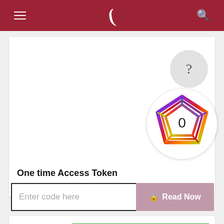Navigation bar with menu, logo, and search
[Figure (other): Grey circular help/question button with '?' symbol]
[Figure (infographic): Altmetric donut badge with rainbow pentagon shape and score '0' in the center]
One time Access Token
Enter code here
Read Now
Online article
Recommend to your librarian
£25.00